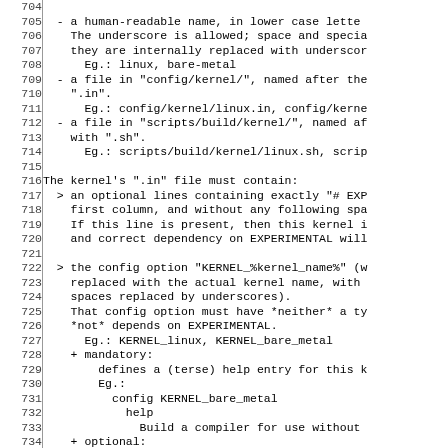Code listing lines 704-734, documentation for kernel configuration file structure including human-readable name, config/kernel/ file, scripts/build/kernel/ file, .in file contents with EXPERIMENTAL option and KERNEL_%kernel_name% config option requirements.